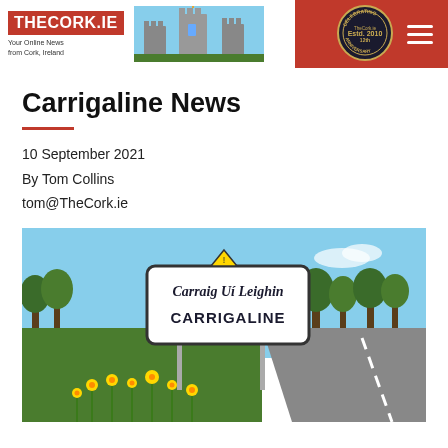THECORK.IE — Your Online News from Cork, Ireland
Carrigaline News
10 September 2021
By Tom Collins
tom@TheCork.ie
[Figure (photo): Road sign reading 'Carraig Uí Leighin / CARRIGALINE' with daffodils in the foreground and a road and trees in the background under a blue sky.]